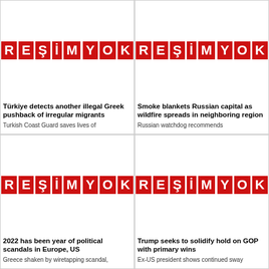[Figure (photo): Placeholder image with red text RESIM YOK (No Image in Turkish)]
Türkiye detects another illegal Greek pushback of irregular migrants
Turkish Coast Guard saves lives of
[Figure (photo): Placeholder image with red text RESIM YOK (No Image in Turkish)]
Smoke blankets Russian capital as wildfire spreads in neighboring region
Russian watchdog recommends
[Figure (photo): Placeholder image with red text RESIM YOK (No Image in Turkish)]
2022 has been year of political scandals in Europe, US
Greece shaken by wiretapping scandal,
[Figure (photo): Placeholder image with red text RESIM YOK (No Image in Turkish)]
Trump seeks to solidify hold on GOP with primary wins
Ex-US president shows continued sway